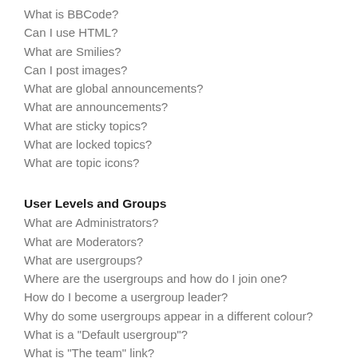What is BBCode?
Can I use HTML?
What are Smilies?
Can I post images?
What are global announcements?
What are announcements?
What are sticky topics?
What are locked topics?
What are topic icons?
User Levels and Groups
What are Administrators?
What are Moderators?
What are usergroups?
Where are the usergroups and how do I join one?
How do I become a usergroup leader?
Why do some usergroups appear in a different colour?
What is a "Default usergroup"?
What is "The team" link?
Private Messaging
I cannot send private messages!
I keep getting unwanted private messages!